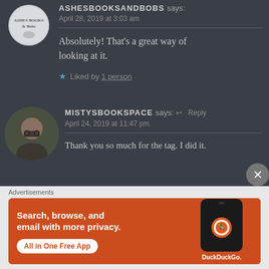[Figure (photo): Round avatar of ASHESBOOKSANDBOBS blog — white circle with teapot and book logo]
ASHESBOOKSANDBOBS says:
April 28, 2019 at 3:03 am
Absolutely! That's a great way of looking at it.
★ Liked by 1 person
[Figure (photo): Round avatar photo of MISTYSBOOKSPACE user — young woman with glasses]
MISTYSBOOKSPACE says: ↩ Reply
April 24, 2019 at 11:47 pm
Thank you so much for the tag. I did it.
Advertisements
[Figure (screenshot): DuckDuckGo advertisement banner: 'Search, browse, and email with more privacy. All in One Free App' with phone mockup showing DuckDuckGo logo]